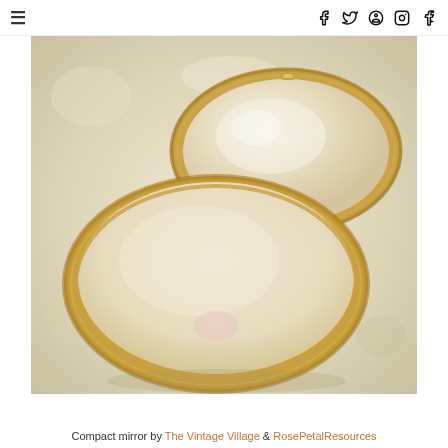≡   f  𝕥  ⊕  ○  G+
[Figure (photo): Open vintage gold compact mirror with a mesh powder screen inside and a mirror lid, photographed on a white textured background.]
Compact mirror by The Vintage Village & RosePetalResources